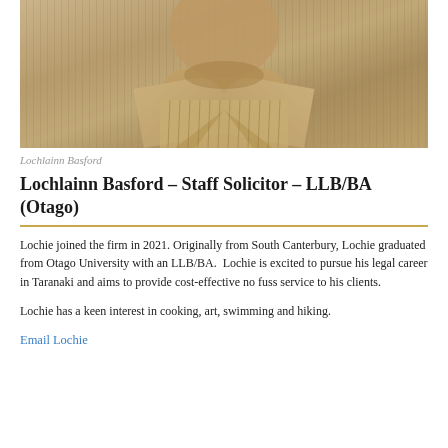[Figure (photo): Sepia-toned headshot photo of Lochlainn Basford, a man in a striped shirt, cropped at the neck/chest area]
Lochlainn Basford
Lochlainn Basford – Staff Solicitor – LLB/BA (Otago)
Lochie joined the firm in 2021. Originally from South Canterbury, Lochie graduated from Otago University with an LLB/BA.  Lochie is excited to pursue his legal career in Taranaki and aims to provide cost-effective no fuss service to his clients.
Lochie has a keen interest in cooking, art, swimming and hiking.
Email Lochie